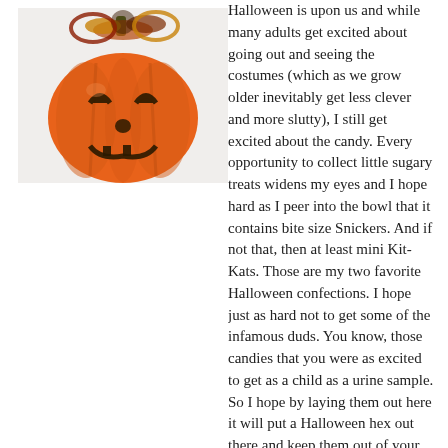[Figure (photo): A decorative orange jack-o'-lantern pumpkin with a smiling face and festive ribbons/decorations on top, photographed against a white background.]
Halloween is upon us and while many adults get excited about going out and seeing the costumes (which as we grow older inevitably get less clever and more slutty), I still get excited about the candy. Every opportunity to collect little sugary treats widens my eyes and I hope hard as I peer into the bowl that it contains bite size Snickers. And if not that, then at least mini Kit-Kats. Those are my two favorite Halloween confections. I hope just as hard not to get some of the infamous duds. You know, those candies that you were as excited to get as a child as a urine sample. So I hope by laying them out here it will put a Halloween hex out there and keep them out of your Trick or Treat future.
I think it goes without saying that we all hope to not get someone's leftover bachelorette party candy. This is a family website so I'll spare the details of the various edible...